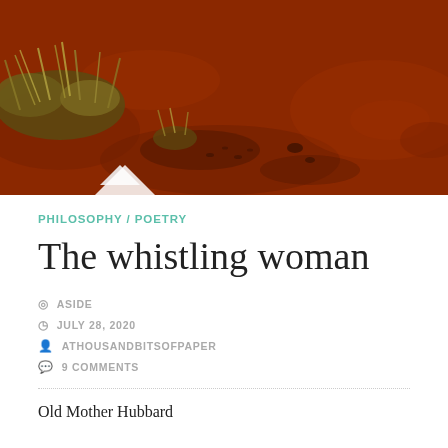[Figure (photo): Aerial or close-up photo of red desert/outback soil with sparse dry golden grass clumps on a reddish-brown ground]
PHILOSOPHY / POETRY
The whistling woman
ASIDE
JULY 28, 2020
ATHOUSANDBITSOFPAPER
9 COMMENTS
Old Mother Hubbard